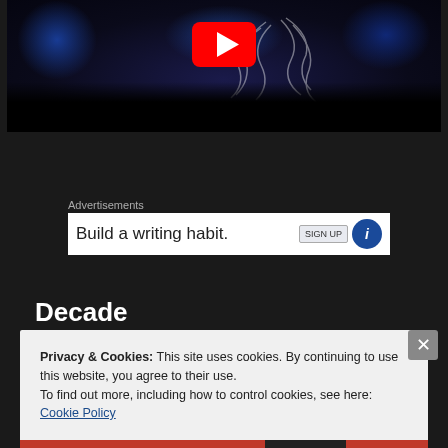[Figure (photo): Concert/live music video thumbnail with blue stage lights, white artistic projection on screen, crowd silhouettes in foreground, and YouTube play button overlay]
Advertisements
[Figure (other): Advertisement banner with text 'Build a writing habit.' and blue circular icon on right side]
Decade
Privacy & Cookies: This site uses cookies. By continuing to use this website, you agree to their use.
To find out more, including how to control cookies, see here:
Cookie Policy
Close and accept